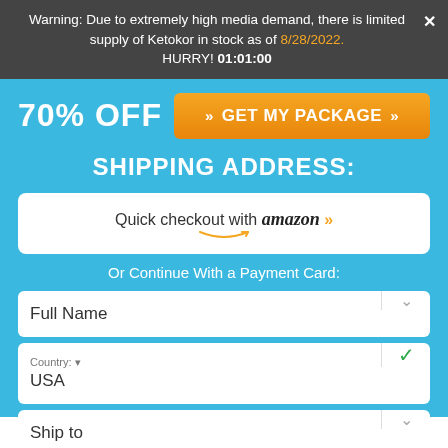Warning: Due to extremely high media demand, there is limited supply of Ketokor in stock as of 8/28/2022. HURRY! 01:01:00
70% OFF
GET MY PACKAGE
SHIPPING ADDRESS:
Quick checkout with amazon »
Or Continue With a Payment Card:
Full Name
Country: USA
Ship to
ZIP